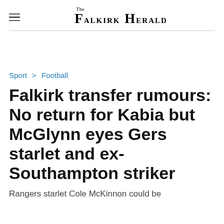The Falkirk Herald
Sport > Football
Falkirk transfer rumours: No return for Kabia but McGlynn eyes Gers starlet and ex-Southampton striker
Rangers starlet Cole McKinnon could be